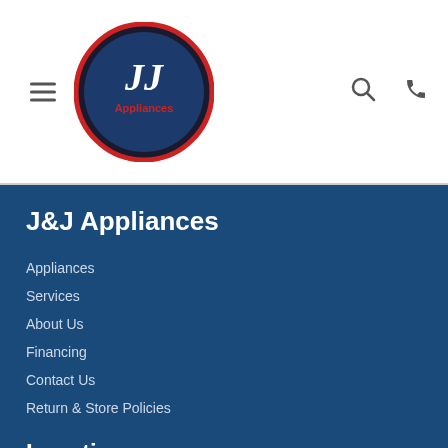[Figure (logo): JJ Appliances circular logo with dark red and navy border, white script JJ text and red Appliances text underneath]
J&J Appliances
Appliances
Services
About Us
Financing
Contact Us
Return & Store Policies
Location
Phoenix Location
3101 W Thomas Rd #101